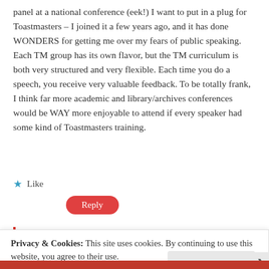panel at a national conference (eek!) I want to put in a plug for Toastmasters – I joined it a few years ago, and it has done WONDERS for getting me over my fears of public speaking. Each TM group has its own flavor, but the TM curriculum is both very structured and very flexible. Each time you do a speech, you receive very valuable feedback. To be totally frank, I think far more academic and library/archives conferences would be WAY more enjoyable to attend if every speaker had some kind of Toastmasters training.
★ Like
Reply
Privacy & Cookies: This site uses cookies. By continuing to use this website, you agree to their use.
To find out more, including how to control cookies, see here:
Cookie Policy
Close and accept